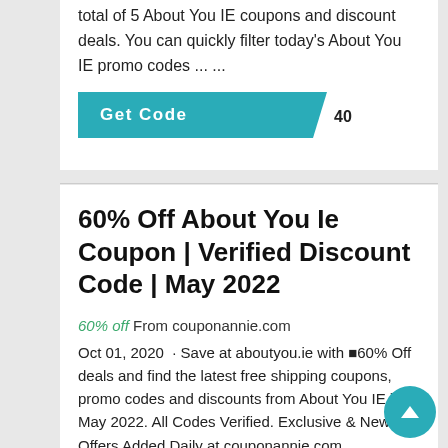total of 5 About You IE coupons and discount deals. You can quickly filter today's About You IE promo codes ... ...
[Figure (other): Get Code button with teal background showing code '40']
60% Off About You Ie Coupon | Verified Discount Code | May 2022
60% off From couponannie.com
Oct 01, 2020 · Save at aboutyou.ie with ⬛60% Off deals and find the latest free shipping coupons, promo codes and discounts from About You IE in May 2022. All Codes Verified. Exclusive & New Offers Added Daily at couponannie.com. ...
[Figure (other): Get Code button with teal background showing code '60']